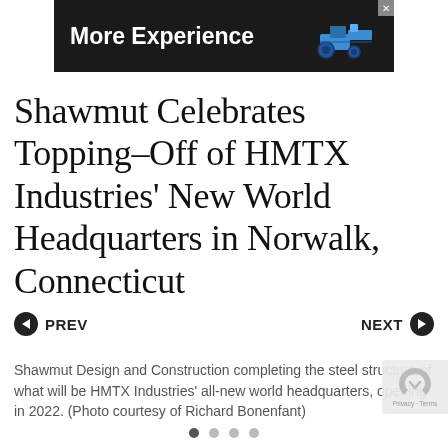[Figure (other): Advertisement banner with white bold text 'More Experience' on dark background with a blue machinery/tractor icon and X close button]
Shawmut Celebrates Topping-Off of HMTX Industries' New World Headquarters in Norwalk, Connecticut
◀ PREV    NEXT ▶
Shawmut Design and Construction completing the steel structure of what will be HMTX Industries' all-new world headquarters, opening in 2022. (Photo courtesy of Richard Bonenfant)